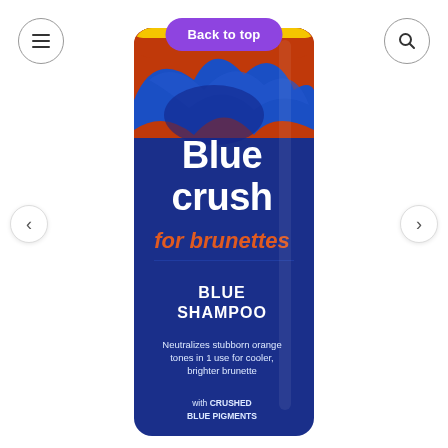[Figure (screenshot): E-commerce product page screenshot showing a Blue Crush for Brunettes Blue Shampoo bottle. The bottle is blue with an orange/red top section and blue splash design. Text on bottle reads: Blue crush for brunettes, BLUE SHAMPOO, Neutralizes stubborn orange tones in 1 use for cooler, brighter brunette, with CRUSHED BLUE PIGMENTS. Navigation elements include a hamburger menu icon (top left), a purple 'Back to top' button (top center), a search icon (top right), and left/right carousel arrows.]